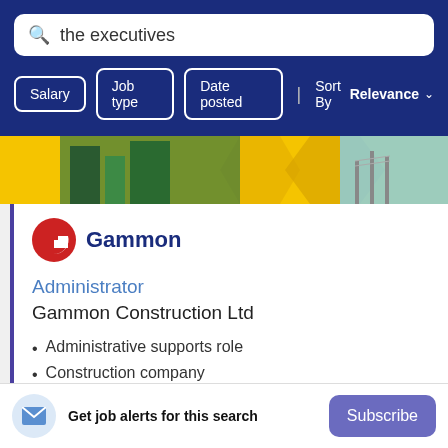the executives
Salary  Job type  Date posted  | Sort By Relevance
[Figure (photo): Gammon Construction banner photo showing building and infrastructure]
[Figure (logo): Gammon logo - red G shape with Gammon text in dark blue]
Administrator
Gammon Construction Ltd
Administrative supports role
Construction company
Headoffice based
14h ago
Get job alerts for this search  Subscribe